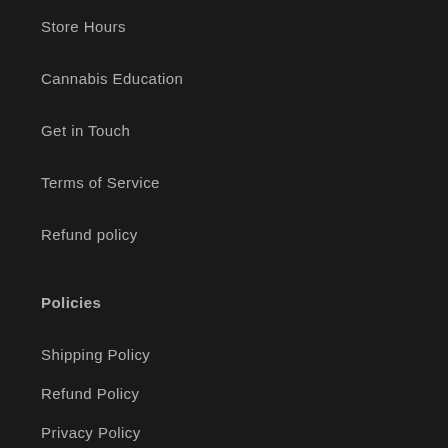Store Hours
Cannabis Education
Get in Touch
Terms of Service
Refund policy
Policies
Shipping Policy
Refund Policy
Privacy Policy